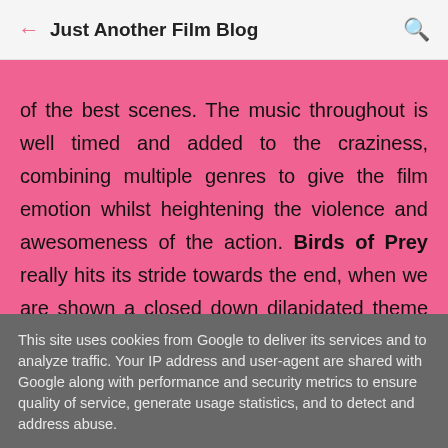Just Another Film Blog
of the best scenes. The music throughout is well timed and added to the craziness, combining multiple genres to give the film emotion whilst heightening the violence and awesomeness of the action. Birds of Prey really hits its stride towards the end, when we are shown a closed down dilapidated theme park. The eerie abandoned theme park is everything I've ever wanted from a Harley Quinn/Joker
This site uses cookies from Google to deliver its services and to analyze traffic. Your IP address and user-agent are shared with Google along with performance and security metrics to ensure quality of service, generate usage statistics, and to detect and address abuse.
LEARN MORE    OK